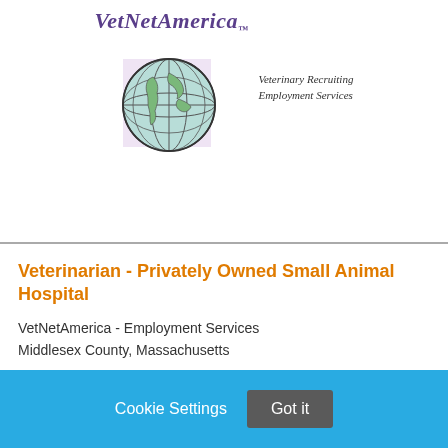[Figure (logo): VetNetAmerica logo with globe illustration and text 'Veterinary Recruiting Employment Services']
Veterinarian - Privately Owned Small Animal Hospital
VetNetAmerica - Employment Services
Middlesex County, Massachusetts
Cookie Settings  Got it
We use cookies so that we can remember you and understand how you use our site. If you do not agree with our use of cookies, please change the current settings found in our Cookie Policy. Otherwise, you agree to the use of the cookies as they are currently set.